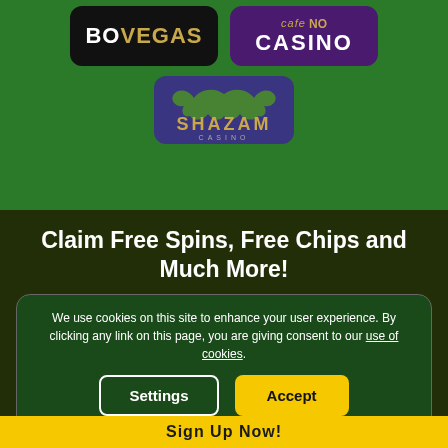[Figure (logo): BoVegas casino logo — black background with gold and white text]
[Figure (logo): Cafe Casino logo — purple background with gold 'cafe' and white 'CASINO' text]
[Figure (logo): Shazam Casino logo — purple/indigo background with stylized text]
Claim Free Spins, Free Chips and Much More!
We use cookies on this site to enhance your user experience. By clicking any link on this page, you are giving consent to our use of cookies.
Settings
Accept
Sign Up Now!